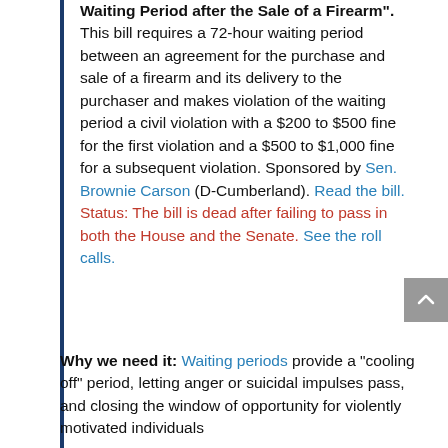Waiting Period after the Sale of a Firearm". This bill requires a 72-hour waiting period between an agreement for the purchase and sale of a firearm and its delivery to the purchaser and makes violation of the waiting period a civil violation with a $200 to $500 fine for the first violation and a $500 to $1,000 fine for a subsequent violation. Sponsored by Sen. Brownie Carson (D-Cumberland). Read the bill.
Status: The bill is dead after failing to pass in both the House and the Senate. See the roll calls.
Why we need it: Waiting periods provide a “cooling off” period, letting anger or suicidal impulses pass, and closing the window of opportunity for violently motivated individuals